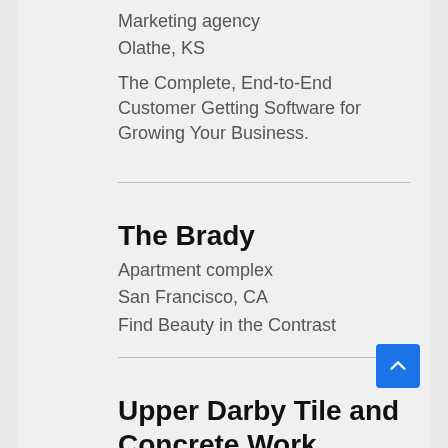Marketing agency
Olathe, KS
The Complete, End-to-End Customer Getting Software for Growing Your Business.
The Brady
Apartment complex
San Francisco, CA
Find Beauty in the Contrast
Upper Darby Tile and Concrete Work